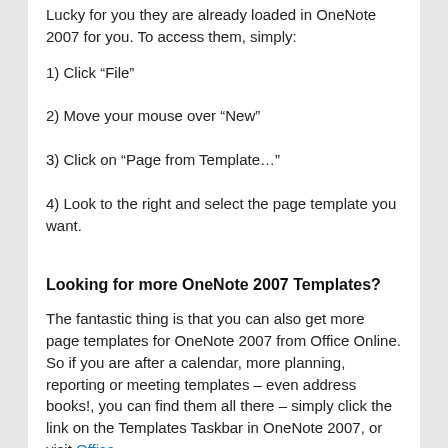Lucky for you they are already loaded in OneNote 2007 for you.  To access them, simply:
1) Click “File”
2) Move your mouse over “New”
3) Click on “Page from Template…”
4) Look to the right and select the page template you want.
Looking for more OneNote 2007 Templates?
The fantastic thing is that you can also get more page templates for OneNote 2007 from Office Online.  So if you are after a calendar, more planning, reporting or meeting templates – even address books!, you can find them all there – simply click the link on the Templates Taskbar in OneNote 2007, or visit Office